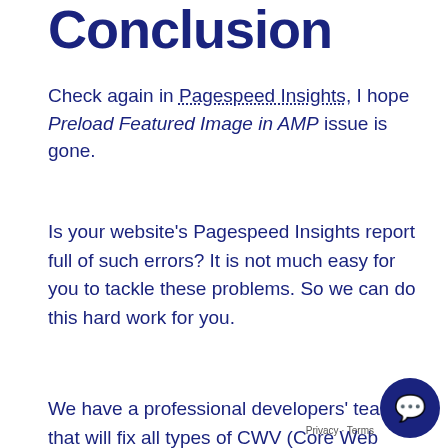Conclusion
Check again in Pagespeed Insights, I hope Preload Featured Image in AMP issue is gone.
Is your website's Pagespeed Insights report full of such errors? It is not much easy for you to tackle these problems. So we can do this hard work for you.
We have a professional developers' team that will fix all types of CWV (Core Web Vitals) errors significantly for our clients for the maximum Website Speed and Performance. If you want Superior Website Speed then Check Our Affordable Pricing, we can start Optimising your website